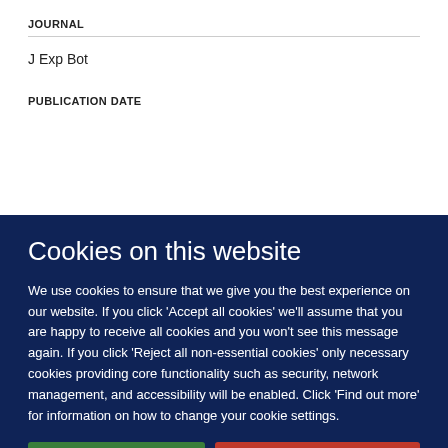JOURNAL
J Exp Bot
PUBLICATION DATE
Cookies on this website
We use cookies to ensure that we give you the best experience on our website. If you click 'Accept all cookies' we'll assume that you are happy to receive all cookies and you won't see this message again. If you click 'Reject all non-essential cookies' only necessary cookies providing core functionality such as security, network management, and accessibility will be enabled. Click 'Find out more' for information on how to change your cookie settings.
Accept all cookies
Reject all non-essential cookies
Find out more